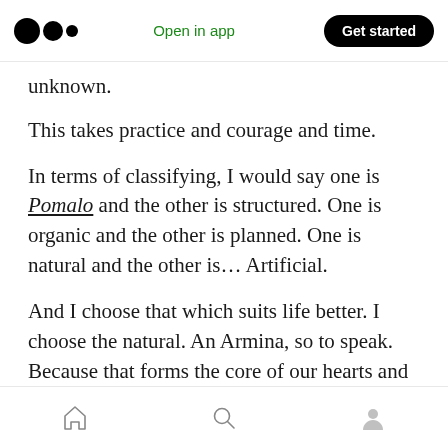Medium logo | Open in app | Get started
unknown.
This takes practice and courage and time.
In terms of classifying, I would say one is Pomalo and the other is structured. One is organic and the other is planned. One is natural and the other is… Artificial.
And I choose that which suits life better. I choose the natural. An Armina, so to speak. Because that forms the core of our hearts and partnership and, in the end, a representation of the love we
Home | Search | Profile